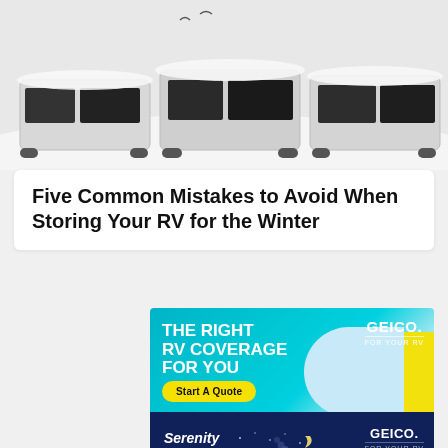[Figure (photo): RVs/camper trailers parked in snow, white snowy winter scene, top portion of image]
Five Common Mistakes to Avoid When Storing Your RV for the Winter
[Figure (infographic): GEICO advertisement banner - teal background, white text: THE RIGHT RV COVERAGE FOR YOU, GEICO FOR YOUR RV logo, yellow Start A Quote button]
[Figure (infographic): GEICO advertisement banner - dark navy background, Serenity & Savings text, illustrated cozy house at night, GEICO FOR YOUR RV logo, Start A Quote button]